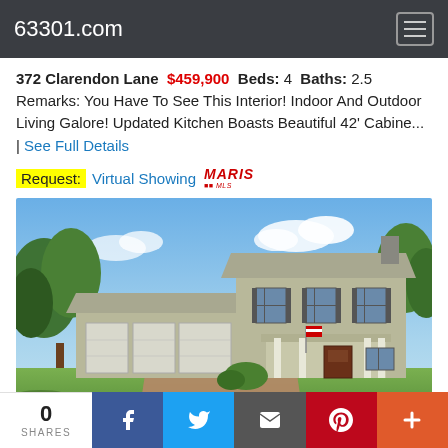63301.com
372 Clarendon Lane  $459,900  Beds: 4  Baths: 2.5  Remarks: You Have To See This Interior! Indoor And Outdoor Living Galore! Updated Kitchen Boasts Beautiful 42' Cabine... | See Full Details
Request: Virtual Showing MARIS
[Figure (photo): Exterior photo of a large two-story colonial home with three-car garage, covered front porch, and manicured lawn surrounded by trees]
0 SHARES